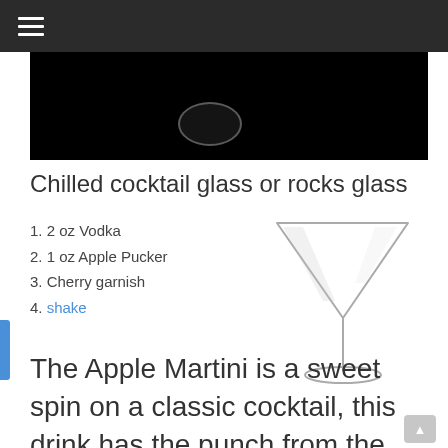≡
[Figure (photo): Dark/black background hero image showing top of a martini glass]
Chilled cocktail glass or rocks glass
1. 2 oz Vodka
2. 1 oz Apple Pucker
3. Cherry garnish
4. shake
[Figure (photo): Illustration of a clear martini/cocktail glass on white background]
The Apple Martini is a sweet spin on a classic cocktail, this drink has the punch from the Vodka and the sweet apple pucker smooths it out.